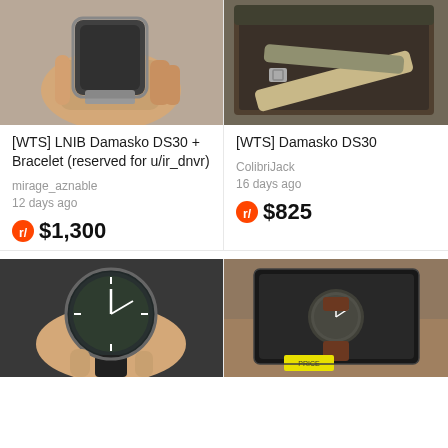[Figure (photo): Hand holding a Damasko DS30 watch with metal bracelet]
[Figure (photo): Watch straps and accessories in a box for Damasko DS30]
[WTS] LNIB Damasko DS30 + Bracelet (reserved for u/ir_dnvr)
mirage_aznable
12 days ago
$1,300
[WTS] Damasko DS30
ColibriJack
16 days ago
$825
[Figure (photo): Hand holding a large field watch with black leather strap and blue dial]
[Figure (photo): Watch in a black presentation box on wooden surface]